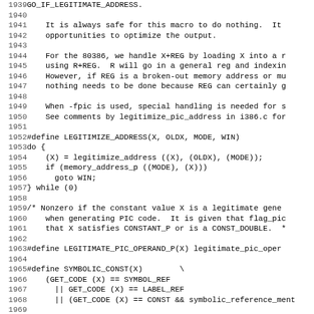Source code listing lines 1939-1970 showing C preprocessor macros: GO_IF_LEGITIMATE_ADDRESS, LEGITIMIZE_ADDRESS, LEGITIMATE_PIC_OPERAND_P, SYMBOLIC_CONST, and comments about 80386 addressing and PIC code handling.